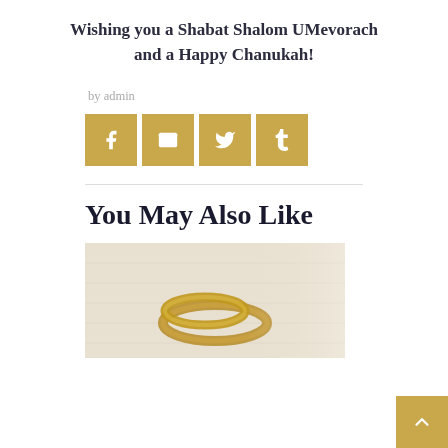Wishing you a Shabat Shalom UMevorach and a Happy Chanukah!
by admin
[Figure (infographic): Four golden square social media share buttons: Facebook (f), Email (envelope), Twitter (bird), Tumblr (t)]
You May Also Like
[Figure (photo): Close-up photograph of two gold wedding rings on a white fabric surface with a blurred background]